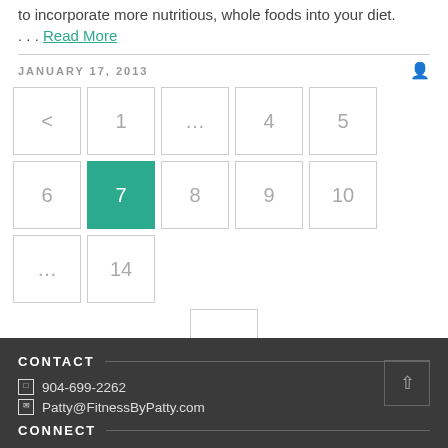to incorporate more nutritious, whole foods into your diet. ... Read More
JANUARY 17, 2013
< 1 ... 4 5 6 7 8 9 10 ... 14 >
CONTACT
904-699-2262
Patty@FitnessByPatty.com
CONNECT